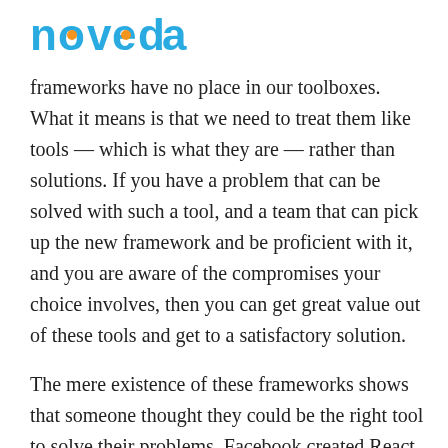noveda (logo)
frameworks have no place in our toolboxes. What it means is that we need to treat them like tools — which is what they are — rather than solutions. If you have a problem that can be solved with such a tool, and a team that can pick up the new framework and be proficient with it, and you are aware of the compromises your choice involves, then you can get great value out of these tools and get to a satisfactory solution.
The mere existence of these frameworks shows that someone thought they could be the right tool to solve their problems. Facebook created React Native because they had a lot of web frontend developers that were familiar with ReactJS, and couldn't staff mobile teams